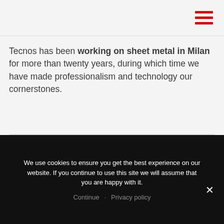[Figure (other): Hamburger menu icon with three red horizontal bars in the top-right corner of the navigation bar]
Tecnos has been working on sheet metal in Milan for more than twenty years, during which time we have made professionalism and technology our cornerstones.
Machining
We use cookies to ensure you get the best experience on our website. If you continue to use this site we will assume that you are happy with it.
Continue  Privacy policy